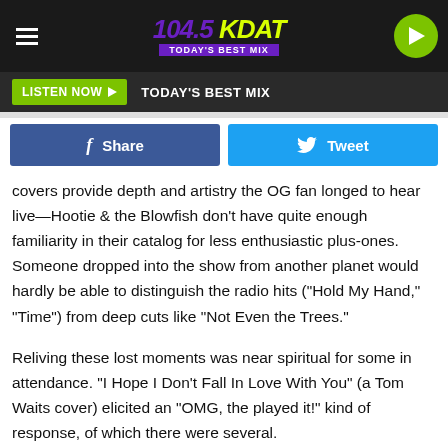104.5 KDAT TODAY'S BEST MIX
[Figure (logo): 104.5 KDAT radio station logo with green/yellow text on dark background and play button]
LISTEN NOW ▶  TODAY'S BEST MIX
[Figure (infographic): Facebook Share button and Twitter Tweet button]
covers provide depth and artistry the OG fan longed to hear live—Hootie & the Blowfish don't have quite enough familiarity in their catalog for less enthusiastic plus-ones. Someone dropped into the show from another planet would hardly be able to distinguish the radio hits ("Hold My Hand," "Time") from deep cuts like "Not Even the Trees."
Reliving these lost moments was near spiritual for some in attendance. "I Hope I Don't Fall In Love With You" (a Tom Waits cover) elicited an "OMG, the played it!" kind of response, of which there were several.